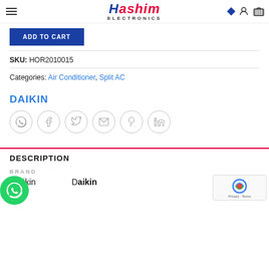Hashim Electronics
[Figure (screenshot): Add to Cart button in blue]
SKU: HOR2010015
Categories: Air Conditioner, Split AC
DAIKIN
[Figure (infographic): Social share icons: WhatsApp, Facebook, Twitter, Email, Pinterest, LinkedIn]
DESCRIPTION
BRAND
Brand: Daikin